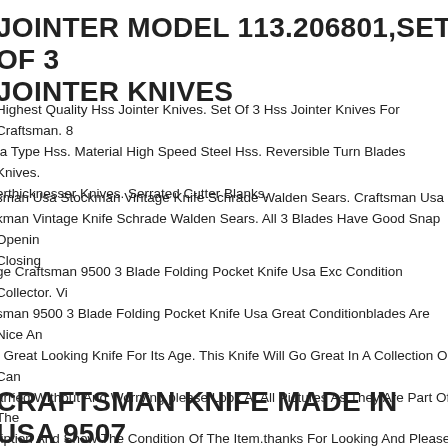JOINTER MODEL 113.206801,SET OF 3 JOINTER KNIVES
Highest Quality Hss Jointer Knives. Set Of 3 Hss Jointer Knives For Craftsman. 8 ta Type Hss. Material High Speed Steel Hss. Reversible Turn Blades Knives. erthicknesser Knives. Serrated Cutter Blanks.
sman Usa Stockman Vintage Knife Schrade Walden Sears. Craftsman Usa kman Vintage Knife Schrade Walden Sears. All 3 Blades Have Good Snap Opening Closing
ge Craftsman 9500 3 Blade Folding Pocket Knife Usa Exc Condition Collector. Vin sman 9500 3 Blade Folding Pocket Knife Usa Great Conditionblades Are Nice An . Great Looking Knife For Its Age. This Knife Will Go Great In A Collection Or Can arried Without And Worrying.please Look At All Pictures As They Are Part Of The ription And Show The Condition Of The Item.thanks For Looking And Please Che My Other Listings.free Shipping To The U.s.a.
CRAFTSMAN KNIFE MADE IN USA 9507 PEANUT VINTAGE FOLDING POCKET 2 8" CLOSED